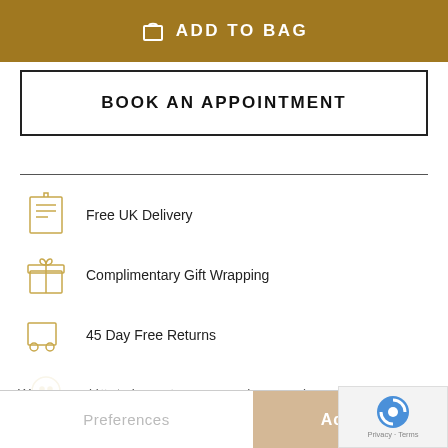ADD TO BAG
BOOK AN APPOINTMENT
Free UK Delivery
Complimentary Gift Wrapping
45 Day Free Returns
Talk to Us Today
We use cookies to improve user experience and analyse website traffic. By clicking “Accept”, you agree to our website’s cookie use as described in our Cookie Policy. You can change your cookie settings at any time by clicking “Preferences”. Learn more
Preferences
Accept